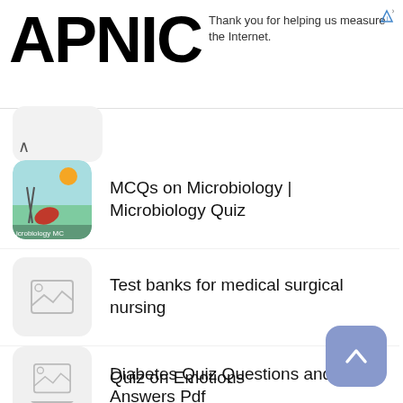[Figure (logo): APNIC logo text in bold black, large font]
Thank you for helping us measure the Internet.
MCQs on Microbiology | Microbiology Quiz
Test banks for medical surgical nursing
Diabetes Quiz Questions and Answers Pdf
Quiz on Emotions